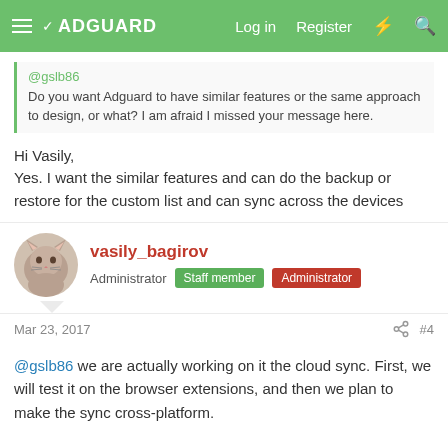ADGUARD | Log in | Register
@gslb86
Do you want Adguard to have similar features or the same approach to design, or what? I am afraid I missed your message here.
Hi Vasily,
Yes. I want the similar features and can do the backup or restore for the custom list and can sync across the devices
vasily_bagirov
Administrator  Staff member  Administrator
Mar 23, 2017  #4
@gslb86 we are actually working on it the cloud sync. First, we will test it on the browser extensions, and then we plan to make the sync cross-platform.